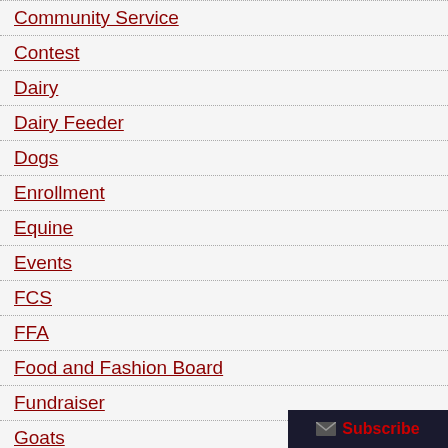Community Service
Contest
Dairy
Dairy Feeder
Dogs
Enrollment
Equine
Events
FCS
FFA
Food and Fashion Board
Fundraiser
Goats
Hartford Fair
Horse